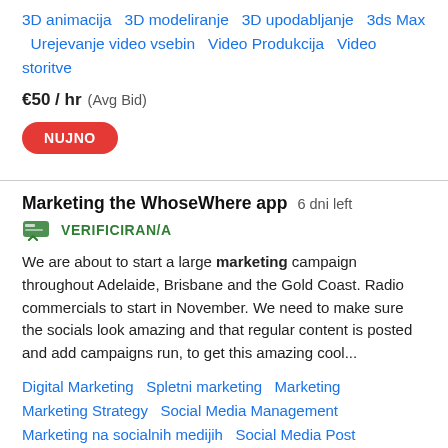3D animacija   3D modeliranje   3D upodabljanje   3ds Max   Urejevanje video vsebin   Video Produkcija   Video storitve
€50 / hr   (Avg Bid)
NUJNO
Marketing the WhoseWhere app   6 dni left
VERIFICIRAN/A
We are about to start a large marketing campaign throughout Adelaide, Brisbane and the Gold Coast. Radio commercials to start in November. We need to make sure the socials look amazing and that regular content is posted and add campaigns run, to get this amazing cool...
Digital Marketing   Spletni marketing   Marketing   Marketing Strategy   Social Media Management   Marketing na socialnih medijih   Social Media Post Design   Virusno trženje